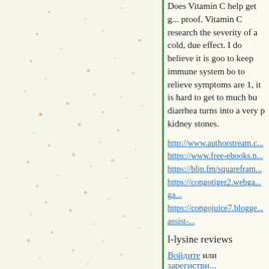Does Vitamin C help get g... proof. Vitamin C research... the severity of a cold, due... effect. I do believe it is goo... to keep immune system bo... to relieve symptoms are 1,... it is hard to get to much bu... diarrhea turns into a very p... kidney stones.
http://www.authorstream.c...
https://www.free-ebooks.n...
https://blip.fm/squarefram...
https://congotiger2.webga... ga...
https://congojuice7.blogge... assist-...
l-lysine reviews
Войдите или зарегистри...